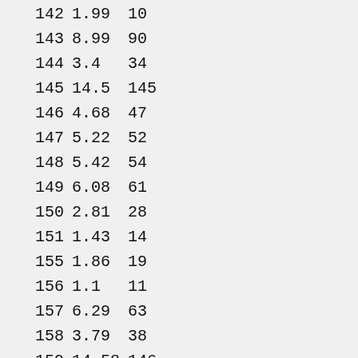| 142 | 1.99 | 10 |
| 143 | 8.99 | 90 |
| 144 | 3.4 | 34 |
| 145 | 14.5 | 145 |
| 146 | 4.68 | 47 |
| 147 | 5.22 | 52 |
| 148 | 5.42 | 54 |
| 149 | 6.08 | 61 |
| 150 | 2.81 | 28 |
| 151 | 1.43 | 14 |
| 155 | 1.86 | 19 |
| 156 | 1.1 | 11 |
| 157 | 6.29 | 63 |
| 158 | 3.79 | 38 |
| 159 | 14.58 | 146 |
| 160 | 4.27 | 43 |
| 161 | 4.95 | 50 |
| 162 | 1.83 | 18 |
| 163 | 2.56 | 26 |
| 164 | 1.79 | 18 |
| 169 | 2.99 | 21 |